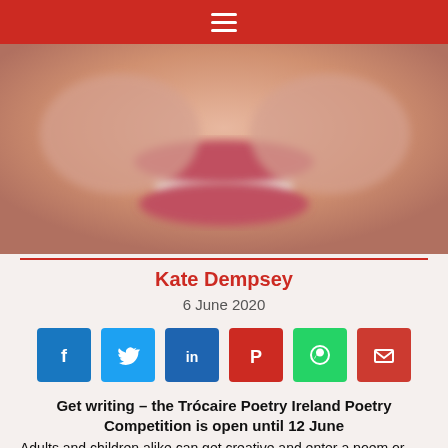≡
[Figure (photo): Close-up photo of a person smiling, showing teeth and lips]
Kate Dempsey
6 June 2020
[Figure (infographic): Social sharing buttons: Facebook, Twitter, LinkedIn, Pinterest, WhatsApp, Email]
Get writing – the Trócaire Poetry Ireland Poetry Competition is open until 12 June
Adults and children alike can get creative and enter a poem or poems to the Trócaire Poetry Ireland Poetry